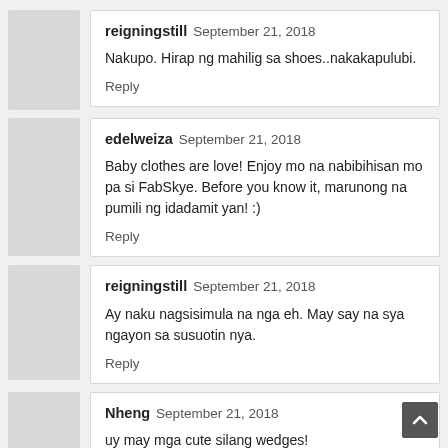reigningstill  September 21, 2018
Nakupo. Hirap ng mahilig sa shoes..nakakapulubi.
Reply
edelweiza  September 21, 2018
Baby clothes are love! Enjoy mo na nabibihisan mo pa si FabSkye. Before you know it, marunong na pumili ng idadamit yan! :)
Reply
reigningstill  September 21, 2018
Ay naku nagsisimula na nga eh. May say na sya ngayon sa susuotin nya.
Reply
Nheng  September 21, 2018
uy may mga cute silang wedges!